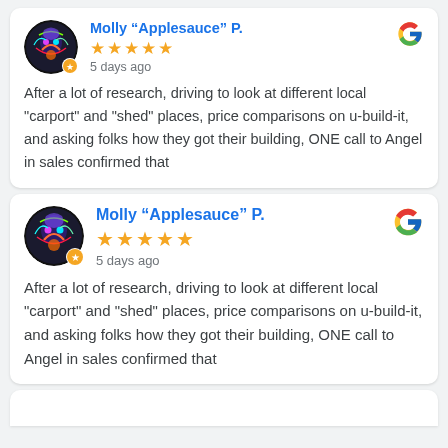[Figure (screenshot): Google review card 1: Reviewer Molly 'Applesauce' P., 5 stars, 5 days ago]
After a lot of research, driving to look at different local "carport" and "shed" places, price comparisons on u-build-it, and asking folks how they got their building, ONE call to Angel in sales confirmed that
[Figure (screenshot): Google review card 2: Reviewer Molly 'Applesauce' P., 5 stars, 5 days ago]
After a lot of research, driving to look at different local "carport" and "shed" places, price comparisons on u-build-it, and asking folks how they got their building, ONE call to Angel in sales confirmed that